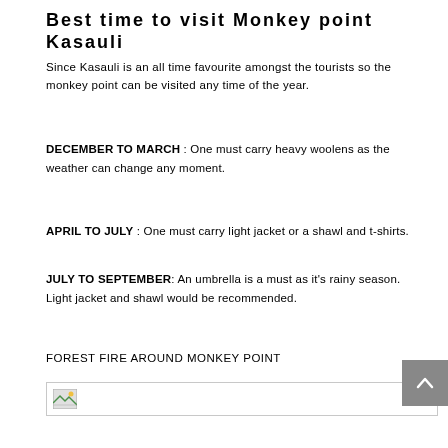Best time to visit Monkey point Kasauli
Since Kasauli is an all time favourite amongst the tourists so the monkey point can be visited any time of the year.
DECEMBER TO MARCH : One must carry heavy woolens as the weather can change any moment.
APRIL TO JULY : One must carry light jacket or a shawl and t-shirts.
JULY TO SEPTEMBER: An umbrella is a must as it's rainy season. Light jacket and shawl would be recommended.
FOREST FIRE AROUND MONKEY POINT
[Figure (photo): Broken image placeholder for forest fire around Monkey Point]